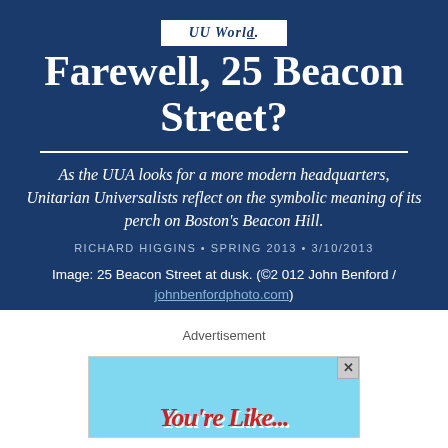UU World
Farewell, 25 Beacon Street?
As the UUA looks for a more modern headquarters, Unitarian Universalists reflect on the symbolic meaning of its perch on Boston's Beacon Hill.
RICHARD HIGGINS • SPRING 2013 • 3/10/2013
Image: 25 Beacon Street at dusk. (©2 012 John Benford / johnbenfordphoto.com)
© 2012 JOHN BENFORD / JOHNBENFORDPHOTO.COM
Advertisement
[Figure (other): Advertisement banner with colorful text reading 'You're Like...' in red italic style on a cyan/light blue background]